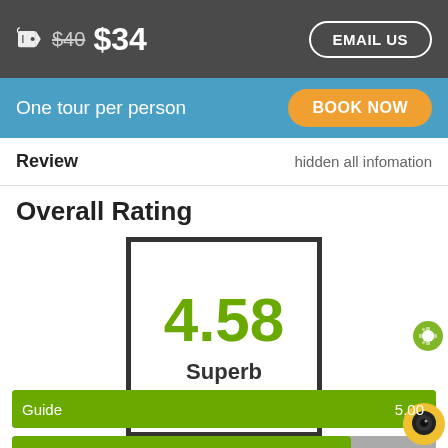$40 $34  EMAIL US
One tour per person  BOOK NOW
Review  hidden all infomation
Overall Rating
[Figure (infographic): Rating score box showing 4.58 in green large text with 'Superb' label below, inside a thick dark border square]
[Figure (bar-chart): Rating bars]